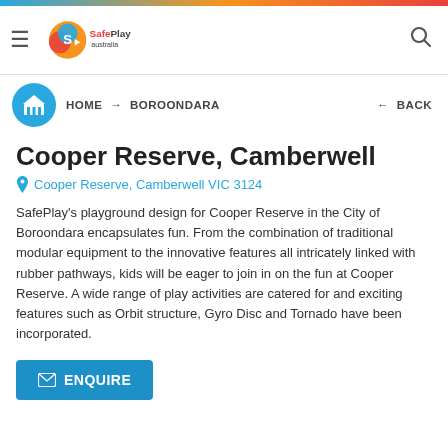[Figure (logo): SafePlay Australia logo with hamburger menu and search icon in header]
HOME → BOROONDARA
← BACK
Cooper Reserve, Camberwell
Cooper Reserve, Camberwell VIC 3124
SafePlay's playground design for Cooper Reserve in the City of Boroondara encapsulates fun. From the combination of traditional modular equipment to the innovative features all intricately linked with rubber pathways, kids will be eager to join in on the fun at Cooper Reserve. A wide range of play activities are catered for and exciting features such as Orbit structure, Gyro Disc and Tornado have been incorporated.
ENQUIRE